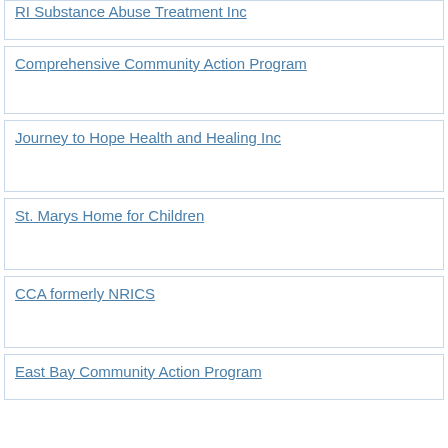RI Substance Abuse Treatment Inc
Comprehensive Community Action Program
Journey to Hope Health and Healing Inc
St. Marys Home for Children
CCA formerly NRICS
East Bay Community Action Program